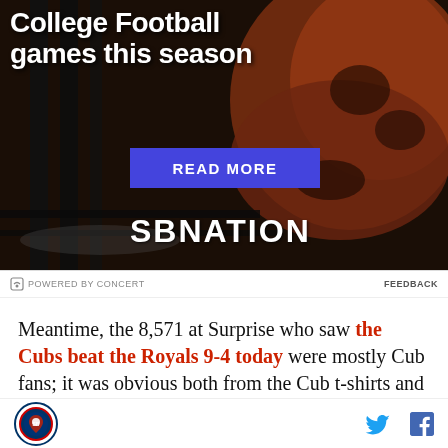[Figure (illustration): SBNation advertisement banner showing grilled meat/ribs on a grill with text overlay. Contains headline text about College Football games this season, a blue READ MORE button, and the SBNATION logo at bottom.]
POWERED BY CONCERT    FEEDBACK
Meantime, the 8,571 at Surprise who saw the Cubs beat the Royals 9-4 today were mostly Cub fans; it was obvious both from the Cub t-shirts and jerseys in the crowd and the loud cheering, drowning out most of
[Figure (logo): SBNation site logo circle with bird emblem, Twitter bird icon, and Facebook f icon in footer]